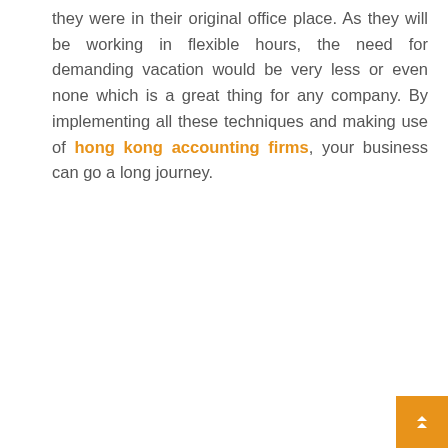they were in their original office place. As they will be working in flexible hours, the need for demanding vacation would be very less or even none which is a great thing for any company. By implementing all these techniques and making use of hong kong accounting firms, your business can go a long journey.
Read More
SHARE
[Figure (infographic): Social share icons row: Facebook, Twitter, Pinterest, LinkedIn, each in a light grey circle, flanked by horizontal divider lines. An orange scroll-to-top button in the bottom-right corner.]